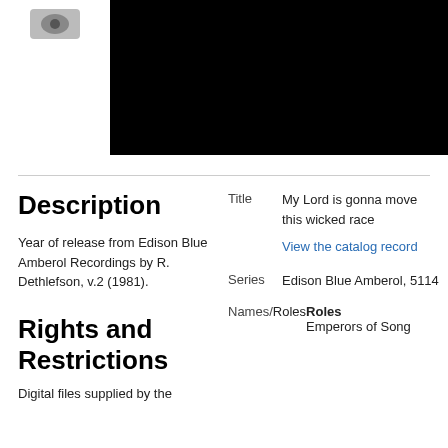[Figure (photo): Small image or logo in top-left white area, partially visible]
[Figure (photo): Large black image/video area in top-right]
Description
Year of release from Edison Blue Amberol Recordings by R. Dethlefson, v.2 (1981).
Rights and Restrictions
Digital files supplied by the
Title: My Lord is gonna move this wicked race
View the catalog record
Series: Edison Blue Amberol, 5114
Names/Roles: Emperors of Song